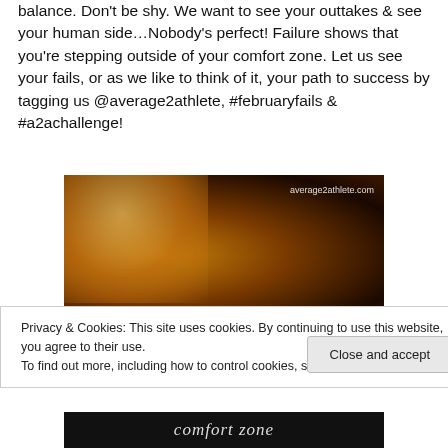balance. Don't be shy. We want to see your outtakes & see your human side…Nobody's perfect! Failure shows that you're stepping outside of your comfort zone. Let us see your fails, or as we like to think of it, your path to success by tagging us @average2athlete, #februaryfails & #a2achallenge!
[Figure (photo): Dark warm-toned photo of a person (athlete/dancer) with motion blur, hair flying, warm orange and brown tones. Watermark reads 'average2athlete.com' in upper right.]
Privacy & Cookies: This site uses cookies. By continuing to use this website, you agree to their use.
To find out more, including how to control cookies, see here: Cookie Policy
[Figure (photo): Bottom of a dark image showing text 'comfort zone' in italic serif font on dark background.]